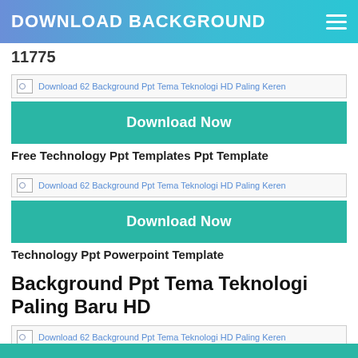DOWNLOAD BACKGROUND
11775
[Figure (screenshot): Broken image placeholder with alt text: Download 62 Background Ppt Tema Teknologi HD Paling Keren]
Download Now
Free Technology Ppt Templates Ppt Template
[Figure (screenshot): Broken image placeholder with alt text: Download 62 Background Ppt Tema Teknologi HD Paling Keren]
Download Now
Technology Ppt Powerpoint Template
Background Ppt Tema Teknologi Paling Baru HD
[Figure (screenshot): Broken image placeholder with alt text: Download 62 Background Ppt Tema Teknologi HD Paling Keren]
Download Now